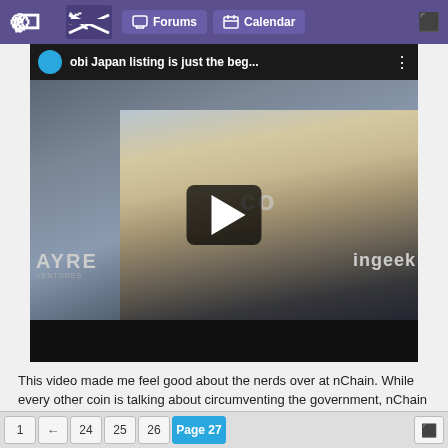Forums  Calendar
obi Japan listing is just the beg...
[Figure (screenshot): Video player screenshot showing a man being interviewed at a crypto/blockchain conference. Visible brand logos include AYRE (VENTURES), CO, and INGEEK in background. A dark play button overlay is in the center of the player.]
This video made me feel good about the nerds over at nChain. While every other coin is talking about circumventing the government, nChain is working with the government. Their approach is nuts and bolts, and that's what works
1  ←  24  25  26  Page 27